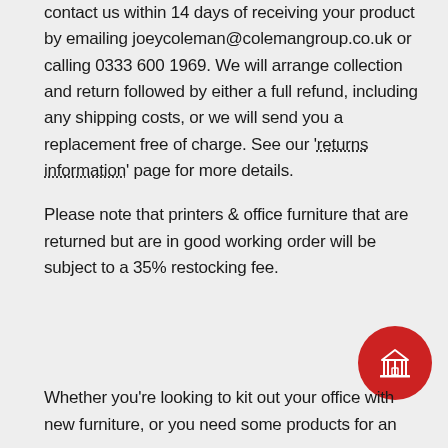contact us within 14 days of receiving your product by emailing joeycoleman@colemangroup.co.uk or calling 0333 600 1969. We will arrange collection and return followed by either a full refund, including any shipping costs, or we will send you a replacement free of charge. See our 'returns information' page for more details.
Please note that printers & office furniture that are returned but are in good working order will be subject to a 35% restocking fee.
[Figure (illustration): Red circular button with a building/office icon (white lines depicting a building with columns)]
Whether you're looking to kit out your office with new furniture, or you need some products for an